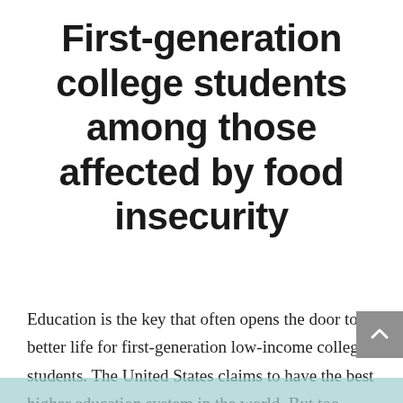First-generation college students among those affected by food insecurity
Education is the key that often opens the door to a better life for first-generation low-income college students. The United States claims to have the best higher education system in the world. But too many students